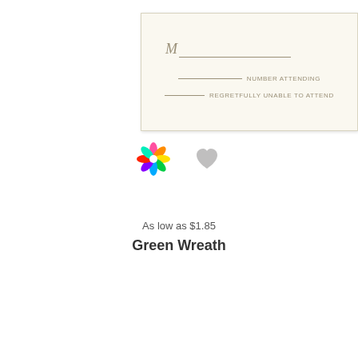[Figure (illustration): Top RSVP card with cream background showing script M line, NUMBER ATTENDING line, and REGRETFULLY UNABLE TO ATTEND line]
[Figure (illustration): Colorful pinwheel/flower icon and gray heart icon side by side]
As low as $1.85
Green Wreath
[Figure (illustration): Green Wreath RSVP card with double border, script text: Please respond by September 15th, M line, number of persons attending line, is regretfully declines line]